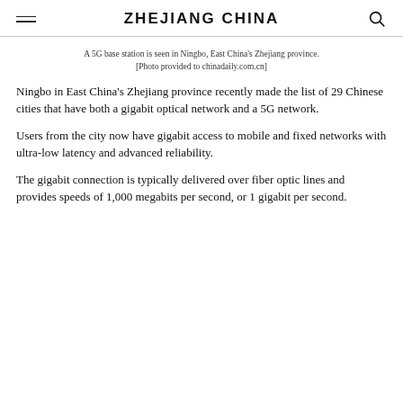ZHEJIANG CHINA
A 5G base station is seen in Ningbo, East China's Zhejiang province. [Photo provided to chinadaily.com.cn]
Ningbo in East China's Zhejiang province recently made the list of 29 Chinese cities that have both a gigabit optical network and a 5G network.
Users from the city now have gigabit access to mobile and fixed networks with ultra-low latency and advanced reliability.
The gigabit connection is typically delivered over fiber optic lines and provides speeds of 1,000 megabits per second, or 1 gigabit per second.